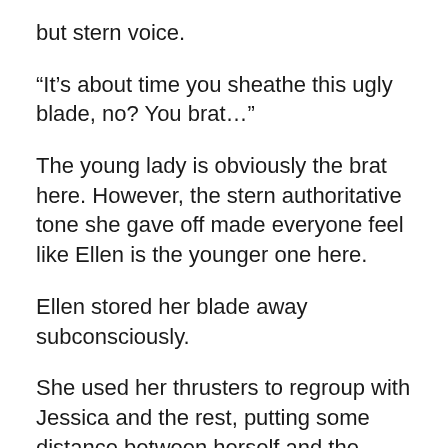but stern voice.
“It’s about time you sheathe this ugly blade, no? You brat…”
The young lady is obviously the brat here. However, the stern authoritative tone she gave off made everyone feel like Ellen is the younger one here.
Ellen stored her blade away subconsciously.
She used her thrusters to regroup with Jessica and the rest, putting some distance between herself and the uninvited guest.
Despite the doll-like beauty and harmless stature of the young girl, Ellen knew better